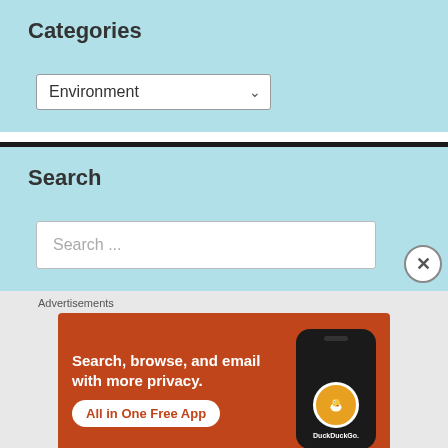Categories
[Figure (screenshot): Dropdown selector showing 'Environment' with a chevron arrow]
Search
[Figure (screenshot): Search input field with placeholder text 'Search ...']
Advertisements
[Figure (infographic): DuckDuckGo advertisement banner on orange background. Text: 'Search, browse, and email with more privacy. All in One Free App'. Shows a phone with DuckDuckGo logo.]